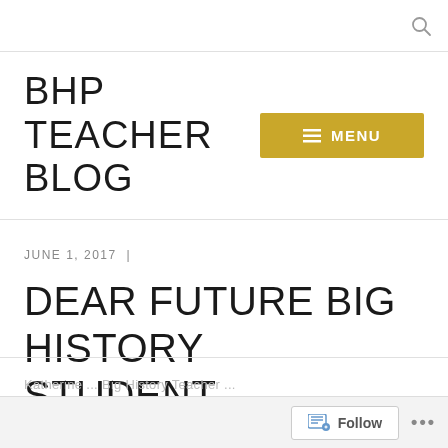BHP TEACHER BLOG
JUNE 1, 2017  |
DEAR FUTURE BIG HISTORY STUDENT…
Follow ...